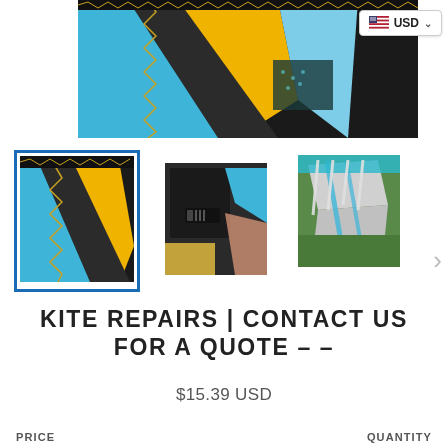[Figure (photo): Main product photo of a kite with blue, yellow and black sections with stitching detail visible, close-up view]
[Figure (photo): Thumbnail 1 (selected, highlighted with blue border): close-up of kite fabric showing blue, yellow and black panels with stitching]
[Figure (photo): Thumbnail 2: close-up of kite bladder/valve area, dark nylon material with zipper]
[Figure (photo): Thumbnail 3: kite on grass with silver and blue panels spread out]
KITE REPAIRS | CONTACT US FOR A QUOTE – –
$15.39 USD
PRICE
QUANTITY